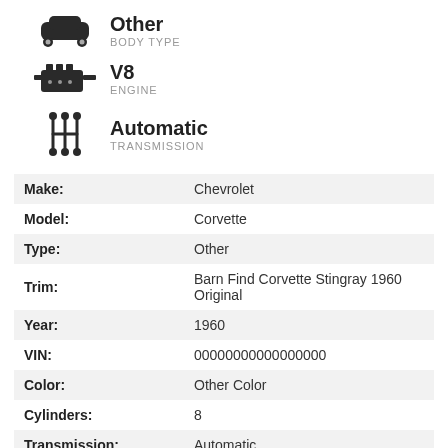[Figure (illustration): Car body type icon (top view silhouette of a car)]
Other
BODY TYPE
[Figure (illustration): Engine icon]
V8
ENGINE
[Figure (illustration): Transmission/gear shift icon]
Automatic
TRANSMISSION
| Make: | Chevrolet |
| Model: | Corvette |
| Type: | Other |
| Trim: | Barn Find Corvette Stingray 1960 Original |
| Year: | 1960 |
| VIN: | 00000000000000000 |
| Color: | Other Color |
| Cylinders: | 8 |
| Transmission: | Automatic |
| Interior color: | Other Color |
| Vehicle Title: | Clear |
| Item location: | Kosciusko, Mississippi, United States |